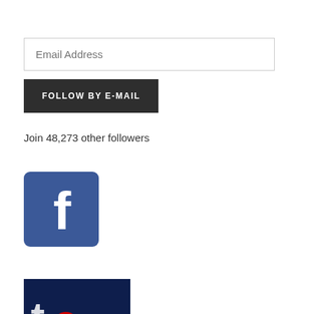Email Address
FOLLOW BY E-MAIL
Join 48,273 other followers
[Figure (logo): Facebook logo icon — blue square with rounded corners and white 'f' letter]
[Figure (logo): Partially visible dark blue logo at the bottom, cropped]